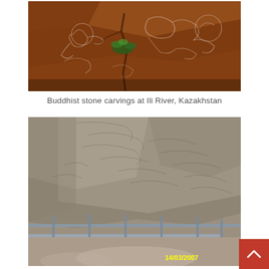[Figure (photo): Buddhist stone carvings on reddish-brown rock surface at Ili River, Kazakhstan. White line engravings of Buddhist figures visible on the rock face with a small green plant growing in a crack.]
Buddhist stone carvings at Ili River, Kazakhstan
[Figure (photo): Close-up photo of stone carvings on a large rock wall, showing engraved patterns and reliefs. A metal railing/barrier is visible in the foreground. A date stamp '14/03/2007' appears in yellow in the lower right corner.]